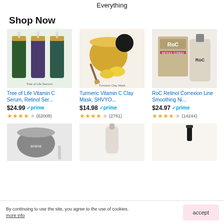Everything
Shop Now
[Figure (photo): Tree of Life Vitamin C Serum, Retinol Serum product image - three green dropper bottles]
Tree of Life Vitamin C Serum, Retinol Ser...
$24.99 ✓prime
★★★★☆ (62008)
[Figure (photo): Turmeric Vitamin C Clay Mask, SHVYO product image - golden jar with lemon and herbs]
Turmeric Vitamin C Clay Mask, SHVYO...
$14.98 ✓prime
★★★★☆ (2781)
[Figure (photo): RoC Retinol Correxion Line Smoothing Ni... product image - gold box and bottle]
RoC Retinol Correxion Line Smoothing Ni...
$24.97 ✓prime
★★★★☆ (14244)
[Figure (photo): Bottom row product 1 - grey clay mask jar]
[Figure (photo): Bottom row product 2 - skincare serum]
[Figure (photo): Bottom row product 3 - dropper bottle]
By continuing to use the site, you agree to the use of cookies. more info
accept